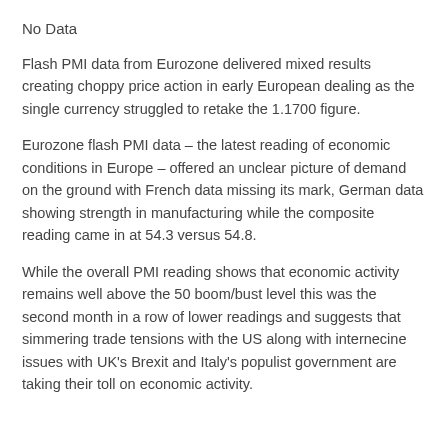No Data
Flash PMI data from Eurozone delivered mixed results creating choppy price action in early European dealing as the single currency struggled to retake the 1.1700 figure.
Eurozone flash PMI data – the latest reading of economic conditions in Europe – offered an unclear picture of demand on the ground with French data missing its mark, German data showing strength in manufacturing while the composite reading came in at 54.3 versus 54.8.
While the overall PMI reading shows that economic activity remains well above the 50 boom/bust level this was the second month in a row of lower readings and suggests that simmering trade tensions with the US along with internecine issues with UK's Brexit and Italy's populist government are taking their toll on economic activity.